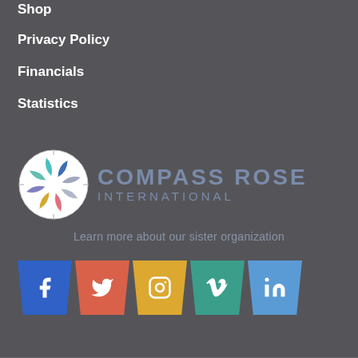Shop
Privacy Policy
Financials
Statistics
[Figure (logo): Compass Rose International logo with colorful floral/star emblem and text 'COMPASS ROSE INTERNATIONAL']
Learn more about our sister organization
[Figure (infographic): Social media icon buttons: Facebook (blue), Twitter (orange-red), Instagram (yellow), Vimeo (teal), LinkedIn (light blue), each with a trapezoid shape]